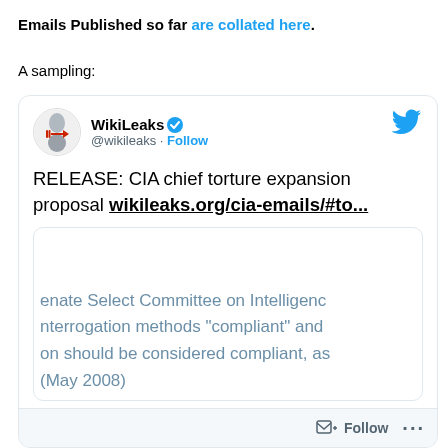Emails Published so far are collated here.
A sampling:
[Figure (screenshot): Embedded tweet from @wikileaks showing: 'RELEASE: CIA chief torture expansion proposal wikileaks.org/cia-emails/#to...' with a preview showing text about Senate Select Committee on Intelligence and interrogation methods 'compliant' and compliance (May 2008). Includes WikiLeaks avatar, verified badge, Follow button, and Twitter bird logo. Footer has Follow button and ellipsis menu.]